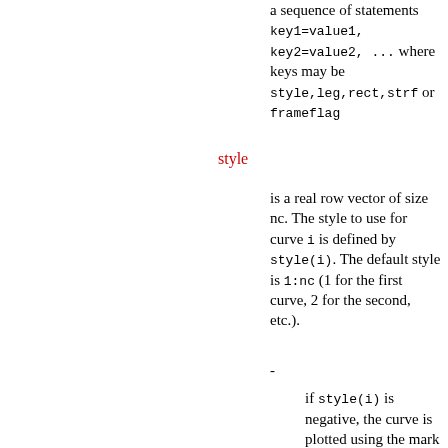a sequence of statements key1=value1, key2=value2, ... where keys may be style,leg,rect,strf or frameflag
style
is a real row vector of size nc. The style to use for curve i is defined by style(i). The default style is 1:nc (1 for the first curve, 2 for the second, etc.).
-
if style(i) is negative, the curve is plotted using the mark with id